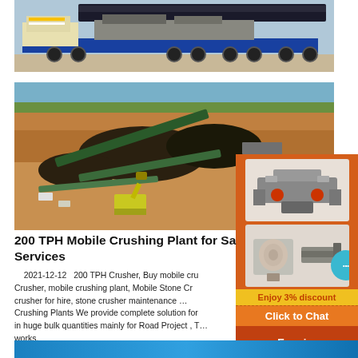[Figure (photo): Mobile crushing plant on a flatbed truck being transported on a road]
[Figure (photo): Aerial view of a mining/quarrying site with conveyor belts, excavators, and large piles of ore/earth]
[Figure (illustration): Orange advertisement panel with crusher machinery images, 3% discount offer, Click to Chat button, and Enquiry section]
200 TPH Mobile Crushing Plant for Sa Services
2021-12-12   200 TPH Crusher, Buy mobile crusher, Crusher, mobile crushing plant, Mobile Stone Crusher, crusher for hire, stone crusher maintenance ... Crushing Plants We provide complete solution for ... in huge bulk quantities mainly for Road Project , T... works.